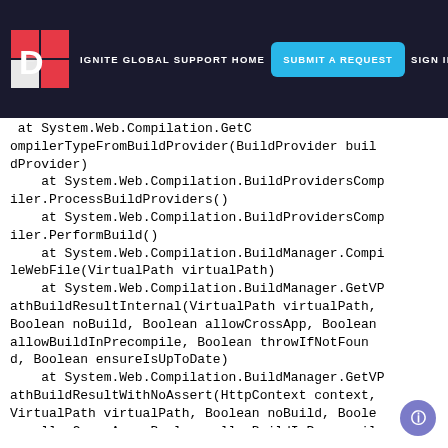IGNITE GLOBAL SUPPORT HOME   SUBMIT A REQUEST   SIGN IN
at System.Web.Compilation.BuildProvidersCompiler.GetCompilerTypeFromBuildProvider(BuildProvider buildProvider)
   at System.Web.Compilation.BuildProvidersCompiler.ProcessBuildProviders()
   at System.Web.Compilation.BuildProvidersCompiler.PerformBuild()
   at System.Web.Compilation.BuildManager.CompileWebFile(VirtualPath virtualPath)
   at System.Web.Compilation.BuildManager.GetVPathBuildResultInternal(VirtualPath virtualPath, Boolean noBuild, Boolean allowCrossApp, Boolean allowBuildInPrecompile, Boolean throwIfNotFound, Boolean ensureIsUpToDate)
   at System.Web.Compilation.BuildManager.GetVPathBuildResultWithNoAssert(HttpContext context, VirtualPath virtualPath, Boolean noBuild, Boolean allowCrossApp, Boolean allowBuildInPrecompile, Boolean throwIfNotFound, Boolean ensureIsUpToDate)
   at System.Web.UI.TemplateControl.LoadControl